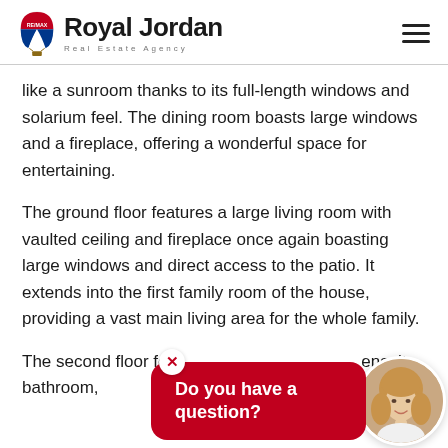Royal Jordan Real Estate Agency
like a sunroom thanks to its full-length windows and solarium feel. The dining room boasts large windows and a fireplace, offering a wonderful space for entertaining.
The ground floor features a large living room with vaulted ceiling and fireplace once again boasting large windows and direct access to the patio. It extends into the first family room of the house, providing a vast main living area for the whole family.
The second floor fe… ensuite bathroom, … closets. It also featu… large bathroom.
[Figure (other): Chat popup widget with red bubble saying 'Do you have a question?' and a circular agent photo of a woman with blonde hair, with a close (X) button]